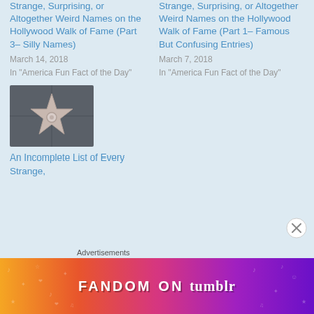Strange, Surprising, or Altogether Weird Names on the Hollywood Walk of Fame (Part 3– Silly Names)
March 14, 2018
In "America Fun Fact of the Day"
Strange, Surprising, or Altogether Weird Names on the Hollywood Walk of Fame (Part 1– Famous But Confusing Entries)
March 7, 2018
In "America Fun Fact of the Day"
[Figure (photo): Hollywood Walk of Fame star embedded in dark grey pavement, showing a pink/beige star shape with a circular center medallion]
An Incomplete List of Every Strange,
Advertisements
[Figure (infographic): Fandom on Tumblr advertisement banner with colorful gradient background (orange to purple) and white text reading FANDOM ON tumblr with decorative doodles]